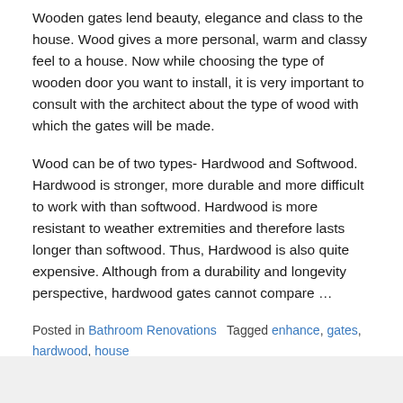Wooden gates lend beauty, elegance and class to the house. Wood gives a more personal, warm and classy feel to a house. Now while choosing the type of wooden door you want to install, it is very important to consult with the architect about the type of wood with which the gates will be made.
Wood can be of two types- Hardwood and Softwood. Hardwood is stronger, more durable and more difficult to work with than softwood. Hardwood is more resistant to weather extremities and therefore lasts longer than softwood. Thus, Hardwood is also quite expensive. Although from a durability and longevity perspective, hardwood gates cannot compare ...
Posted in Bathroom Renovations  Tagged enhance, gates, hardwood, house